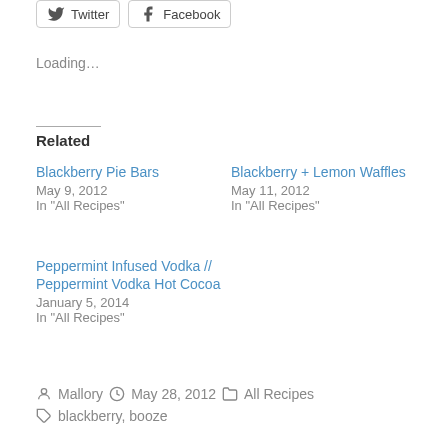[Figure (other): Share buttons for Twitter and Facebook]
Loading…
Related
Blackberry Pie Bars
May 9, 2012
In "All Recipes"
Blackberry + Lemon Waffles
May 11, 2012
In "All Recipes"
Peppermint Infused Vodka // Peppermint Vodka Hot Cocoa
January 5, 2014
In "All Recipes"
Posted by Mallory   May 28, 2012   All Recipes   blackberry, booze